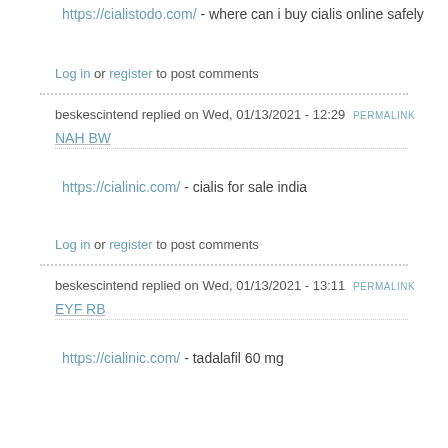https://cialistodo.com/ - where can i buy cialis online safely
Log in or register to post comments
beskescintend replied on Wed, 01/13/2021 - 12:29 PERMALINK
NAH BW
https://cialinic.com/ - cialis for sale india
Log in or register to post comments
beskescintend replied on Wed, 01/13/2021 - 13:11 PERMALINK
EYF RB
https://cialinic.com/ - tadalafil 60 mg